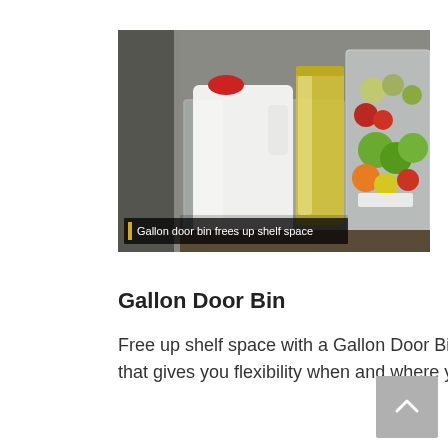[Figure (photo): Photo of a refrigerator door bin holding a gallon milk jug and yellow juice container, with a crisper drawer of fruits visible to the right. An overlay caption bar reads 'Gallon door bin frees up shelf space'.]
Gallon Door Bin
Free up shelf space with a Gallon Door Bin that gives you flexibility when and where you need it.